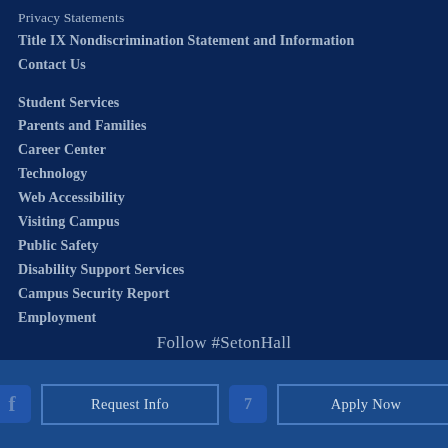Privacy Statements
Title IX Nondiscrimination Statement and Information
Contact Us
Student Services
Parents and Families
Career Center
Technology
Web Accessibility
Visiting Campus
Public Safety
Disability Support Services
Campus Security Report
Employment
Follow #SetonHall
Request Info
Apply Now